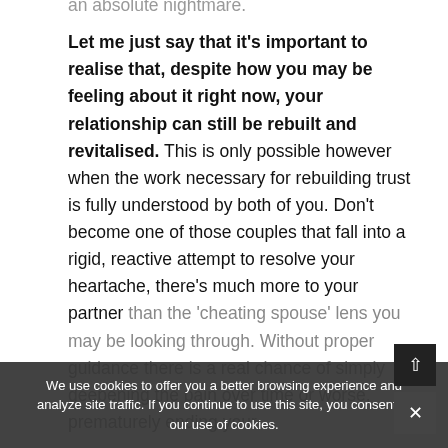an absolute nightmare.
Let me just say that it's important to realise that, despite how you may be feeling about it right now, your relationship can still be rebuilt and revitalised. This is only possible however when the work necessary for rebuilding trust is fully understood by both of you. Don't become one of those couples that fall into a rigid, reactive attempt to resolve your heartache, there's much more to your partner than the 'cheating spouse' lens you may be looking through. Without proper guidance there is a real chance of simply deepening the pain over time or worse, prematurely ending your
We use cookies to offer you a better browsing experience and analyze site traffic. If you continue to use this site, you consent to our use of cookies.